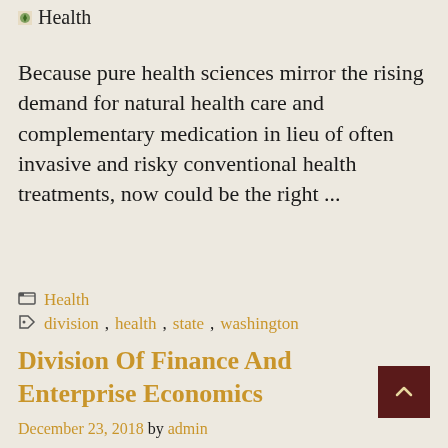Health
Because pure health sciences mirror the rising demand for natural health care and complementary medication in lieu of often invasive and risky conventional health treatments, now could be the right ...
Health
division, health, state, washington
Division Of Finance And Enterprise Economics
December 23, 2018 by admin